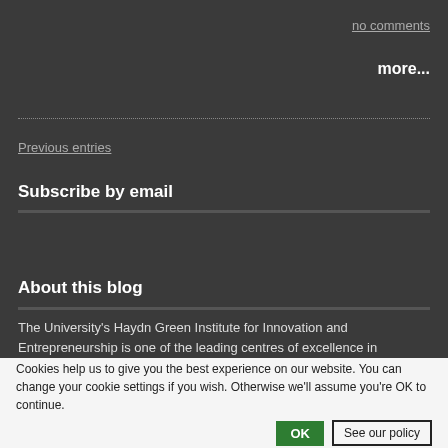no comments
more...
Previous entries
Subscribe by email
Subscribe by email form with email input and submit button
About this blog
The University's Haydn Green Institute for Innovation and Entrepreneurship is one of the leading centres of excellence in enterprise education in Europe. This blog focuses on the Institute's work around the development of enterprise and entrepreneurial skills, innovation and understanding the commercialisation of research. The Institute also undertakes research into the impact of the pedagogical innovations in teaching
Cookies help us to give you the best experience on our website. You can change your cookie settings if you wish. Otherwise we'll assume you're OK to continue.
OK
See our policy